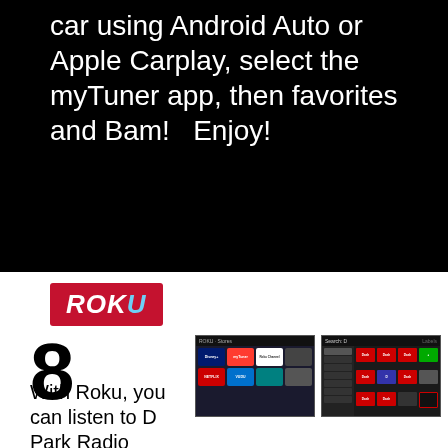car using Android Auto or Apple Carplay, select the myTuner app, then favorites and Bam!   Enjoy!
[Figure (logo): Roku logo — red rectangle with white italic bold text reading ROKU with a light blue U]
8
With Roku, you can listen to D Park Radio anytime with
[Figure (screenshot): Roku channel store screen showing tiles including Disney+, myTuner, Roku Channel, Netflix, Vudu]
[Figure (screenshot): Roku search results screen showing multiple Dash radio channel thumbnails in a grid]